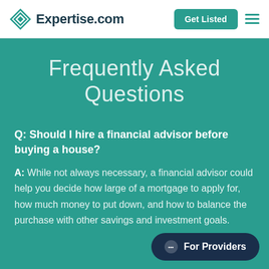Expertise.com | Get Listed
Frequently Asked Questions
Q: Should I hire a financial advisor before buying a house?
A: While not always necessary, a financial advisor could help you decide how large of a mortgage to apply for, how much money to put down, and how to balance the purchase with other savings and investment goals.